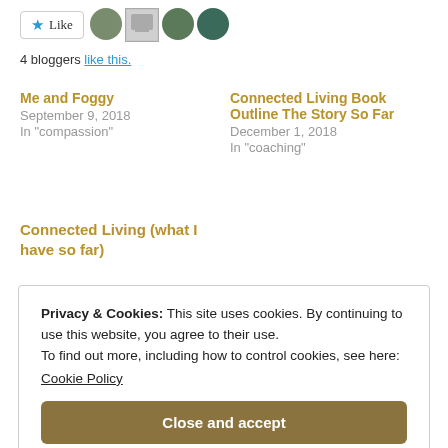[Figure (other): Like button with star icon and four blogger avatar thumbnails]
4 bloggers like this.
Me and Foggy
September 9, 2018
In "compassion"
Connected Living Book Outline The Story So Far
December 1, 2018
In "coaching"
Connected Living (what I have so far)
Privacy & Cookies: This site uses cookies. By continuing to use this website, you agree to their use.
To find out more, including how to control cookies, see here:
Cookie Policy
Close and accept